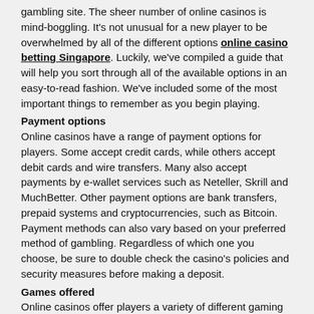gambling site. The sheer number of online casinos is mind-boggling. It's not unusual for a new player to be overwhelmed by all of the different options online casino betting Singapore. Luckily, we've compiled a guide that will help you sort through all of the available options in an easy-to-read fashion. We've included some of the most important things to remember as you begin playing.
Payment options
Online casinos have a range of payment options for players. Some accept credit cards, while others accept debit cards and wire transfers. Many also accept payments by e-wallet services such as Neteller, Skrill and MuchBetter. Other payment options are bank transfers, prepaid systems and cryptocurrencies, such as Bitcoin. Payment methods can also vary based on your preferred method of gambling. Regardless of which one you choose, be sure to double check the casino's policies and security measures before making a deposit.
Games offered
Online casinos offer players a variety of different gaming options. Some offer live games through television channels, while others offer live games through the